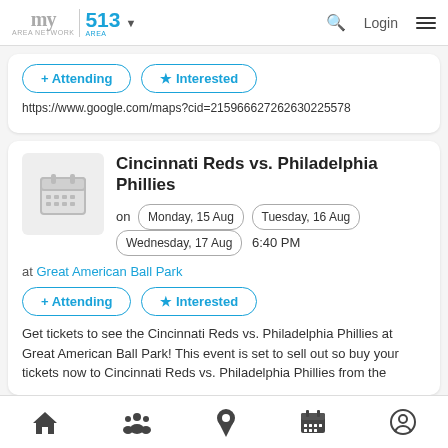my area network | 513 AREA | Login
+ Attending   ★ Interested
https://www.google.com/maps?cid=215966627262630225578
Cincinnati Reds vs. Philadelphia Phillies
on Monday, 15 Aug  Tuesday, 16 Aug  Wednesday, 17 Aug  6:40 PM
at Great American Ball Park
+ Attending   ★ Interested
Get tickets to see the Cincinnati Reds vs. Philadelphia Phillies at Great American Ball Park! This event is set to sell out so buy your tickets now to Cincinnati Reds vs. Philadelphia Phillies from the
Home | People | Location | Calendar | Profile